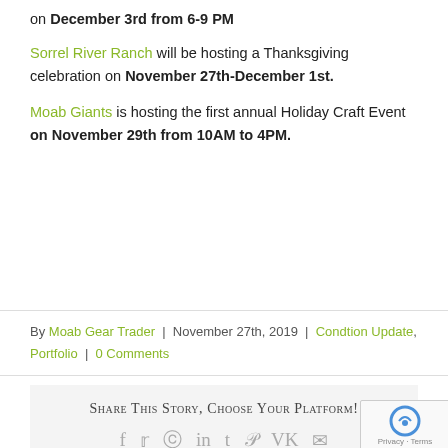on December 3rd from 6-9 PM
Sorrel River Ranch will be hosting a Thanksgiving celebration on November 27th-December 1st.
Moab Giants is hosting the first annual Holiday Craft Event on November 29th from 10AM to 4PM.
By Moab Gear Trader | November 27th, 2019 | Condtion Update, Portfolio | 0 Comments
Share This Story, Choose Your Platform!